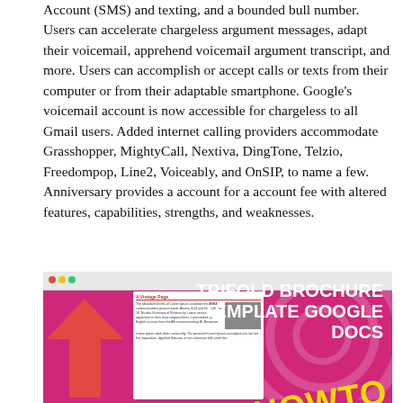Account (SMS) and texting, and a bounded bull number. Users can accelerate chargeless argument messages, adapt their voicemail, apprehend voicemail argument transcript, and more. Users can accomplish or accept calls or texts from their computer or from their adaptable smartphone. Google's voicemail account is now accessible for chargeless to all Gmail users. Added internet calling providers accommodate Grasshopper, MightyCall, Nextiva, DingTone, Telzio, Freedompop, Line2, Voiceably, and OnSIP, to name a few. Anniversary provides a account for a account fee with altered features, capabilities, strengths, and weaknesses.
[Figure (illustration): A trifold brochure template Google Docs promotional image with magenta/pink background, large white bold text reading 'TRIFOLD BROCHURE TEMPLATE GOOGLE DOCS', yellow diagonal 'HOW TO' text, an arrow graphic on the left, and a preview of a vintage-style brochure inner panel.]